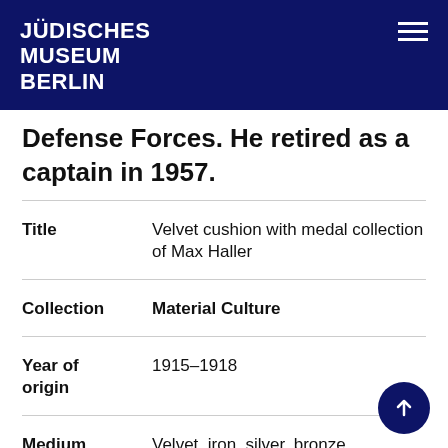JÜDISCHES MUSEUM BERLIN
Defense Forces. He retired as a captain in 1957.
| Field | Value |
| --- | --- |
| Title | Velvet cushion with medal collection of Max Haller |
| Collection | Material Culture |
| Year of origin | 1915–1918 |
| Medium | Velvet, iron, silver, bronze, |